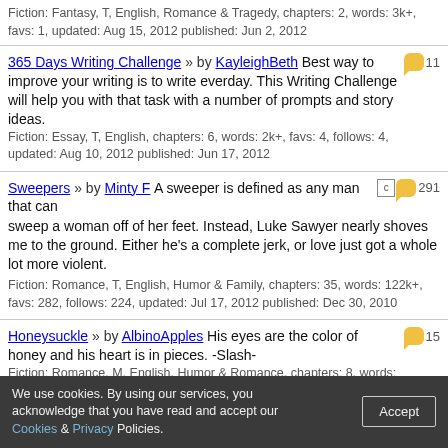Fiction: Fantasy, T, English, Romance & Tragedy, chapters: 2, words: 3k+, favs: 1, updated: Aug 15, 2012 published: Jun 2, 2012
365 Days Writing Challenge » by KayleighBeth Best way to improve your writing is to write everday. This Writing Challenge will help you with that task with a number of prompts and story ideas. Fiction: Essay, T, English, chapters: 6, words: 2k+, favs: 4, follows: 4, updated: Aug 10, 2012 published: Jun 17, 2012
Sweepers » by Minty F A sweeper is defined as any man that can sweep a woman off of her feet. Instead, Luke Sawyer nearly shoves me to the ground. Either he's a complete jerk, or love just got a whole lot more violent. Fiction: Romance, T, English, Humor & Family, chapters: 35, words: 122k+, favs: 282, follows: 224, updated: Jul 17, 2012 published: Dec 30, 2010
Honeysuckle » by AlbinoApples His eyes are the color of honey and his heart is in pieces. -Slash- Fiction: Romance, M, English, Humor & Romance, chapters: 8, words: 18k+, favs: 9, follows: 21, updated: Jul 16, 2012 published: Dec 23, 2010
83 Page 1 2 3 4 .. Last Next »
Author: Follow Favorite Go
All Category Sort: Updated Go
We use cookies. By using our services, you acknowledge that you have read and accept our Cookies & Privacy Policies. Accept